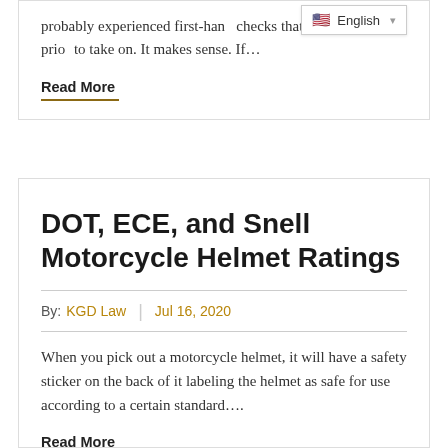probably experienced first-hand the checks that must be made prior to take on. It makes sense. If...
Read More
DOT, ECE, and Snell Motorcycle Helmet Ratings
By: KGD Law | Jul 16, 2020
When you pick out a motorcycle helmet, it will have a safety sticker on the back of it labeling the helmet as safe for use according to a certain standard....
Read More